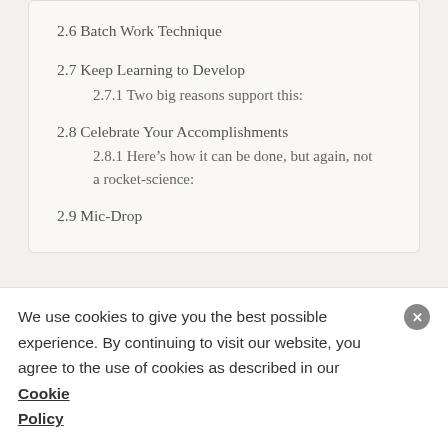2.6 Batch Work Technique
2.7 Keep Learning to Develop
2.7.1 Two big reasons support this:
2.8 Celebrate Your Accomplishments
2.8.1 Here’s how it can be done, but again, not a rocket-science:
2.9 Mic-Drop
Around 47% of industries operating across the Indian
We use cookies to give you the best possible experience. By continuing to visit our website, you agree to the use of cookies as described in our Cookie Policy